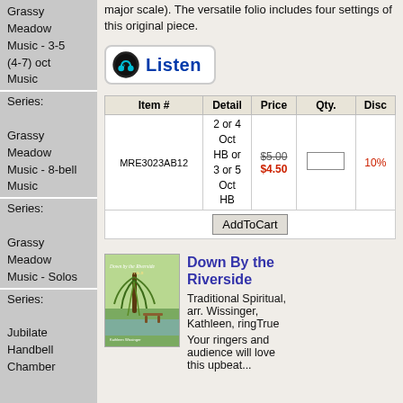Grassy Meadow Music - 3-5 (4-7) oct Music
Series: Grassy Meadow Music - 8-bell Music
Series: Grassy Meadow Music - Solos
Series: Jubilate Handbell Chamber
major scale). The versatile folio includes four settings of this original piece.
[Figure (other): Listen button with musical note icon]
| Item # | Detail | Price | Qty. | Disc |
| --- | --- | --- | --- | --- |
| MRE3023AB12 | 2 or 4 Oct HB or 3 or 5 Oct HB | $5.00 $4.50 |  | 10% |
|  | AddToCart |  |  |  |
[Figure (photo): Book cover: Down by the Riverside, showing a weeping willow tree and bench by a river, by Kathleen Wissinger]
Down By the Riverside
Traditional Spiritual, arr. Wissinger, Kathleen, ringTrue
Your ringers and audience will love this upbeat...